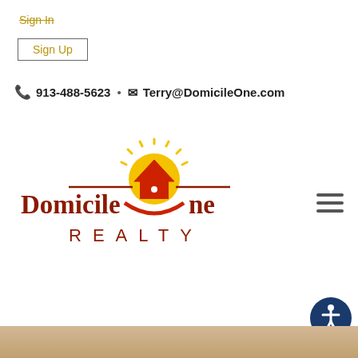Sign In
Sign Up
913-488-5623 • Terry@DomicileOne.com
[Figure (logo): Domicile One Realty logo with stylized house and sun graphic, text reads 'Domicile One REALTY' in dark red and brown colors]
[Figure (other): Hamburger menu icon (three horizontal lines)]
[Figure (other): Accessibility icon button (person in circle, dark blue background)]
[Figure (photo): Partial bottom edge of a photo, beige/brown tones]